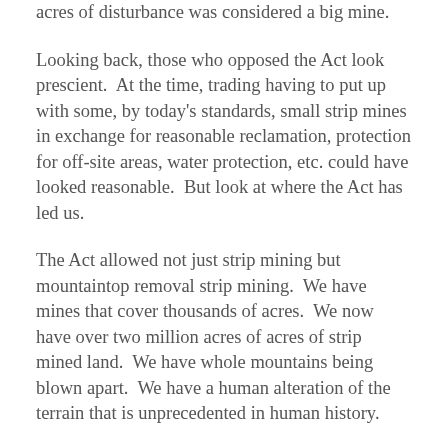acres of disturbance was considered a big mine.
Looking back, those who opposed the Act look prescient.  At the time, trading having to put up with some, by today's standards, small strip mines in exchange for reasonable reclamation, protection for off-site areas, water protection, etc. could have looked reasonable.  But look at where the Act has led us.
The Act allowed not just strip mining but mountaintop removal strip mining.  We have mines that cover thousands of acres.  We now have over two million acres of acres of strip mined land.  We have whole mountains being blown apart.  We have a human alteration of the terrain that is unprecedented in human history.